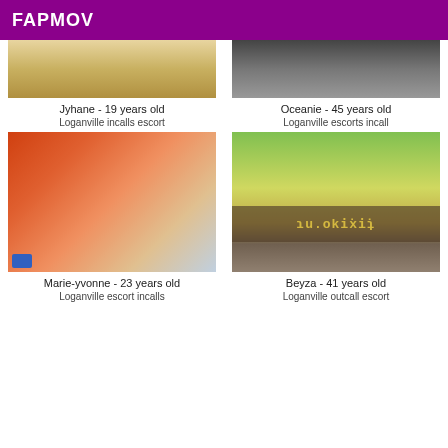FAPMOV
[Figure (photo): Cropped photo top portion - Jyhane]
Jyhane - 19 years old
Loganville incalls escort
[Figure (photo): Cropped photo top portion - Oceanie]
Oceanie - 45 years old
Loganville escorts incall
[Figure (photo): Photo of Marie-yvonne on couch in red dress]
Marie-yvonne - 23 years old
Loganville escort incalls
[Figure (photo): Photo of Beyza blonde with fixiko.ru watermark]
Beyza - 41 years old
Loganville outcall escort